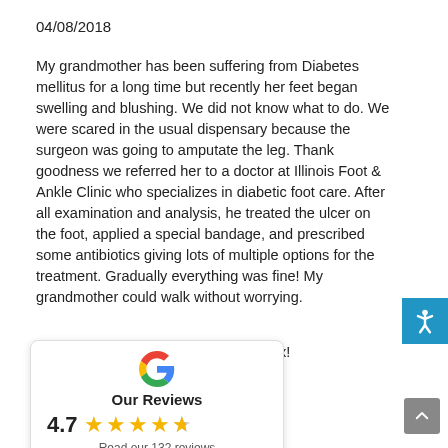04/08/2018
My grandmother has been suffering from Diabetes mellitus for a long time but recently her feet began swelling and blushing. We did not know what to do. We were scared in the usual dispensary because the surgeon was going to amputate the leg. Thank goodness we referred her to a doctor at Illinois Foot & Ankle Clinic who specializes in diabetic foot care. After all examination and analysis, he treated the ulcer on the foot, applied a special bandage, and prescribed some antibiotics giving lots of multiple options for the treatment. Gradually everything was fine! My grandmother could walk without worrying. Alex!
[Figure (other): Google Reviews widget showing rating 4.7 out of 5 stars with 132 reviews]
Franz